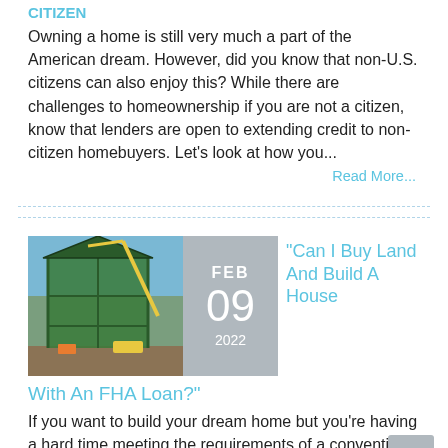CITIZEN
Owning a home is still very much a part of the American dream. However, did you know that non-U.S. citizens can also enjoy this? While there are challenges to homeownership if you are not a citizen, know that lenders are open to extending credit to non-citizen homebuyers. Let's look at how you...
Read More...
[Figure (photo): Construction photo showing a multi-story building frame with green sheathing and a crane]
FEB 09 2022
"Can I Buy Land And Build A House With An FHA Loan?"
If you want to build your dream home but you're having a hard time meeting the requirements of a conventional loan, we've got good news for you. An FHA